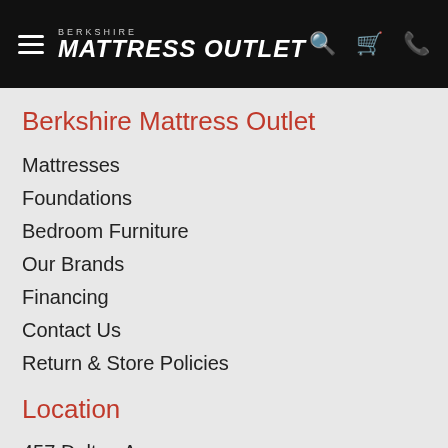BERKSHIRE MATTRESS OUTLET
Berkshire Mattress Outlet
Mattresses
Foundations
Bedroom Furniture
Our Brands
Financing
Contact Us
Return & Store Policies
Location
457 Dalton Ave.
Pittsfield, MA 01201